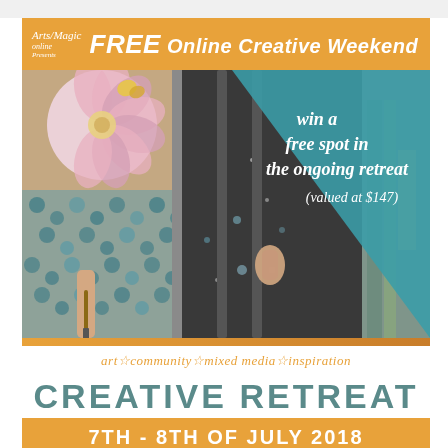[Figure (infographic): ArtsmagicOnline presents FREE Online Creative Weekend promotional flyer with artist painting image, teal overlay with win text, and event details]
ArtsMagic Online Presents FREE Online Creative Weekend
win a free spot in the ongoing retreat (valued at $147)
art☆community☆mixed media☆inspiration
CREATIVE RETREAT
7TH - 8TH OF JULY 2018